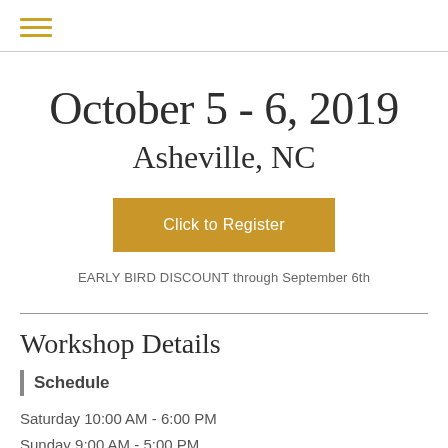≡
October 5 - 6, 2019
Asheville, NC
Click to Register
EARLY BIRD DISCOUNT through September 6th
Workshop Details
Schedule
Saturday 10:00 AM - 6:00 PM
Sunday 9:00 AM - 5:00 PM